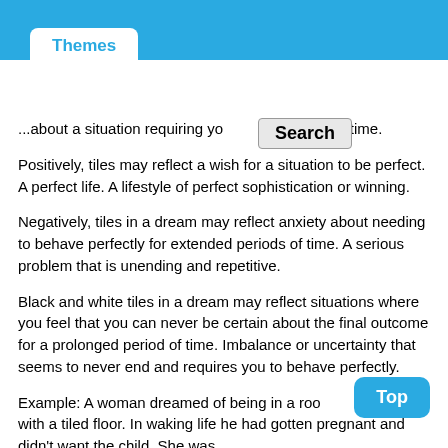Themes
...about a situation requiring you to be perfect all the time.
Positively, tiles may reflect a wish for a situation to be perfect. A perfect life. A lifestyle of perfect sophistication or winning.
Negatively, tiles in a dream may reflect anxiety about needing to behave perfectly for extended periods of time. A serious problem that is unending and repetitive.
Black and white tiles in a dream may reflect situations where you feel that you can never be certain about the final outcome for a prolonged period of time. Imbalance or uncertainty that seems to never end and requires you to behave perfectly.
Example: A woman dreamed of being in a room with a tiled floor. In waking life he had gotten pregnant and didn't want the child. She was